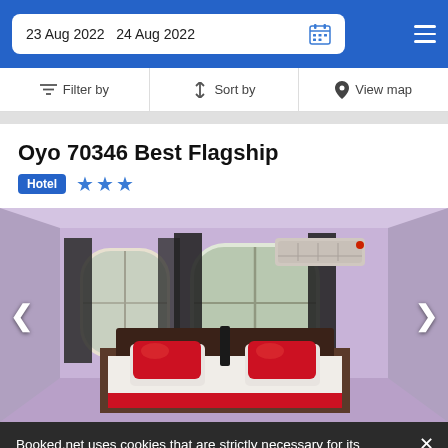23 Aug 2022  24 Aug 2022
Filter by   Sort by   View map
Oyo 70346 Best Flagship
Hotel ★★★
[Figure (photo): Hotel bedroom with purple walls, white bed with red pillows, AC unit above, windows with dark curtains, navigation arrows on sides]
Booked.net uses cookies that are strictly necessary for its functioning. We do not collect analytical and marketing cookies.